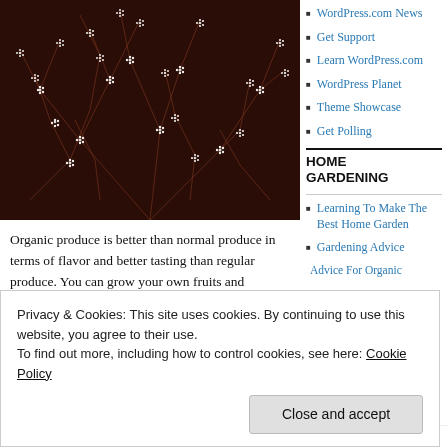[Figure (photo): Close-up photo of many small white flowers on dark reddish-brown stems/branches against a dark background.]
Organic produce is better than normal produce in terms of flavor and better tasting than regular produce. You can grow your own fruits and
WordPress.com News
Get Support
Learn WordPress.com
WordPress Planet
Theme Showcase
Get Polling
HOME GARDENING
Learning To Make The Best Home Garden
Gardening Advice
Privacy & Cookies: This site uses cookies. By continuing to use this website, you agree to their use.
To find out more, including how to control cookies, see here: Cookie Policy
Close and accept
TIP! You need to consider
This insures that
Advice For Organic